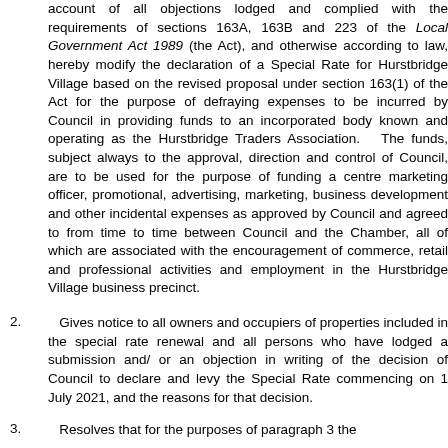account of all objections lodged and complied with the requirements of sections 163A, 163B and 223 of the Local Government Act 1989 (the Act), and otherwise according to law, hereby modify the declaration of a Special Rate for Hurstbridge Village based on the revised proposal under section 163(1) of the Act for the purpose of defraying expenses to be incurred by Council in providing funds to an incorporated body known and operating as the Hurstbridge Traders Association. The funds, subject always to the approval, direction and control of Council, are to be used for the purpose of funding a centre marketing officer, promotional, advertising, marketing, business development and other incidental expenses as approved by Council and agreed to from time to time between Council and the Chamber, all of which are associated with the encouragement of commerce, retail and professional activities and employment in the Hurstbridge Village business precinct.
Gives notice to all owners and occupiers of properties included in the special rate renewal and all persons who have lodged a submission and/ or an objection in writing of the decision of Council to declare and levy the Special Rate commencing on 1 July 2021, and the reasons for that decision.
Resolves that for the purposes of paragraph 3 the...